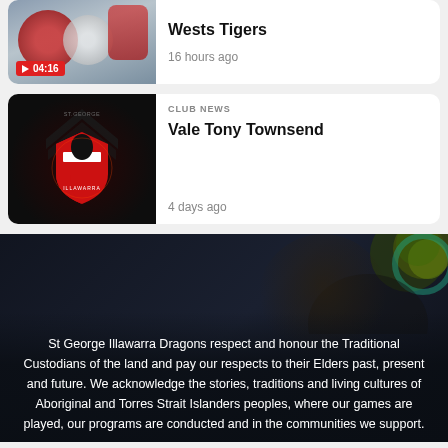[Figure (photo): Wests Tigers NRL match thumbnail showing players in red and white jerseys with a video play badge showing 04:16]
Wests Tigers
16 hours ago
[Figure (photo): St George Illawarra Dragons club logo on dark background with chevron pattern]
CLUB NEWS
Vale Tony Townsend
4 days ago
[Figure (photo): Dark atmospheric photo of an Aboriginal elder with a colourful headdress visible at top right corner]
St George Illawarra Dragons respect and honour the Traditional Custodians of the land and pay our respects to their Elders past, present and future. We acknowledge the stories, traditions and living cultures of Aboriginal and Torres Strait Islanders peoples, where our games are played, our programs are conducted and in the communities we support.